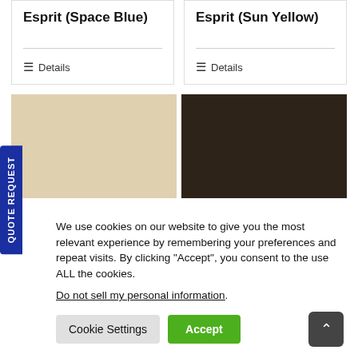Esprit (Space Blue)
Esprit (Sun Yellow)
Details
Details
[Figure (illustration): Beige/cream color swatch]
[Figure (illustration): Dark brown color swatch]
We use cookies on our website to give you the most relevant experience by remembering your preferences and repeat visits. By clicking “Accept”, you consent to the use ALL the cookies.
Do not sell my personal information.
Cookie Settings
Accept
QUOTE REQUEST